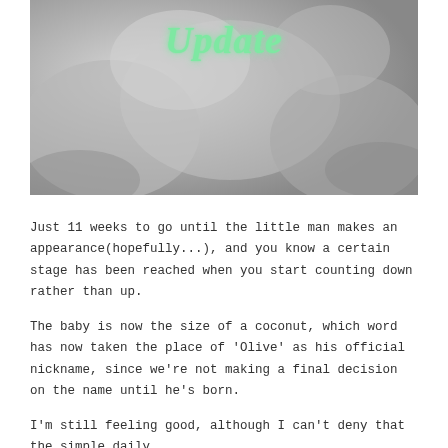[Figure (photo): Black and white close-up photo of a baby's hands and feet. Overlaid text in green/mint color reads 'Update' in an italic/script style font, suggesting a pregnancy update blog post header.]
Just 11 weeks to go until the little man makes an appearance(hopefully...), and you know a certain stage has been reached when you start counting down rather than up.
The baby is now the size of a coconut, which word has now taken the place of 'Olive' as his official nickname, since we're not making a final decision on the name until he's born.
I'm still feeling good, although I can't deny that the simple daily...